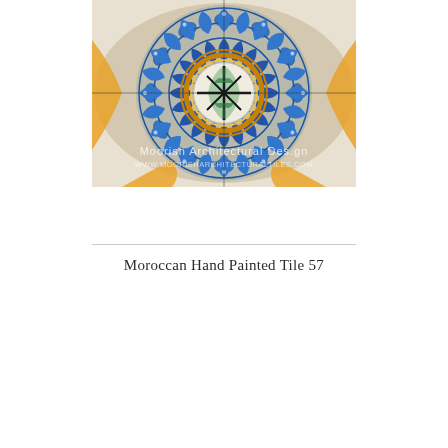[Figure (photo): Close-up photograph of a Moroccan hand painted decorative tile panel featuring intricate geometric and floral patterns. The design shows blue, white, gold/yellow, and green colors arranged in a circular mandala-like pattern with a central medallion containing a cross motif, surrounded by fish-scale and leaf patterns. A watermark reads 'Moorish Architectural Design' and 'www.moorisharchitecturaltiles.com'.]
Moroccan Hand Painted Tile 57